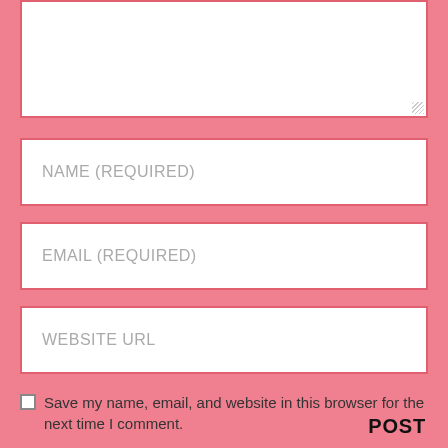[Figure (screenshot): A text area input field (white rectangle with pink/red border) at the top of a comment form, partially cropped at the top, with a resize handle in the bottom-right corner.]
NAME (REQUIRED)
EMAIL (REQUIRED)
WEBSITE URL
Save my name, email, and website in this browser for the next time I comment.
POST